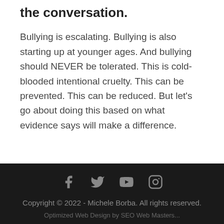the conversation.
Bullying is escalating. Bullying is also starting up at younger ages. And bullying should NEVER be tolerated. This is cold-blooded intentional cruelty. This can be prevented. This can be reduced. But let’s go about doing this based on what evidence says will make a difference.
Copyright © 2022 - Michele Borba. All rights reserved.